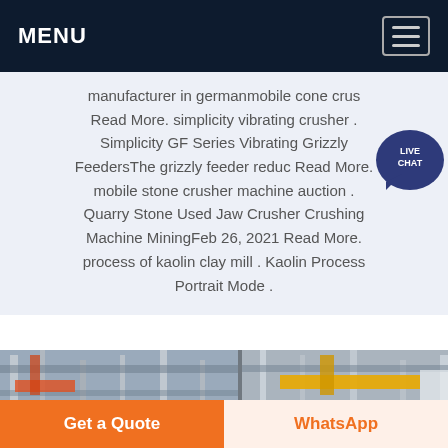MENU
manufacturer in germanmobile cone crus Read More. simplicity vibrating crusher . Simplicity GF Series Vibrating Grizzly FeedersThe grizzly feeder reduc Read More. mobile stone crusher machine auction . Quarry Stone Used Jaw Crusher Crushing Machine MiningFeb 26, 2021 Read More. process of kaolin clay mill . Kaolin Process Portrait Mode .
[Figure (photo): Industrial factory/mining equipment interior showing overhead crane structures and machinery in a warehouse setting, split into three panels]
LIVE CHAT
Get a Quote
WhatsApp